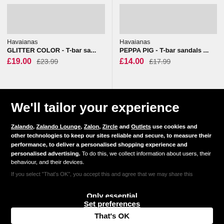Havaianas
GLITTER COLOR - T-bar sa...
£19.00  £23.99
Havaianas
PEPPA PIG - T-bar sandals ...
£14.00  £17.99
We'll tailor your experience
Zalando, Zalando Lounge, Zalon, Zircle and Outlets use cookies and other technologies to keep our sites reliable and secure, to measure their performance, to deliver a personalised shopping experience and personalised advertising. To do this, we collect information about users, their behaviour, and their devices.
If you select "That's OK", you accept this and agree that we may share this
Only essential
Set preferences
That's OK